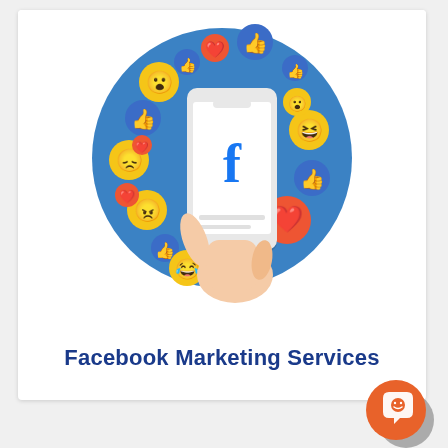[Figure (illustration): Illustration of a hand holding a smartphone showing the Facebook 'f' logo, surrounded by various emoji reaction icons (hearts, thumbs up, laughing, shocked, angry faces) on a blue circular background.]
Facebook Marketing Services
[Figure (illustration): Orange circular chat/messaging button icon with a speech bubble and smiley face, with a dark shadow/secondary circle.]